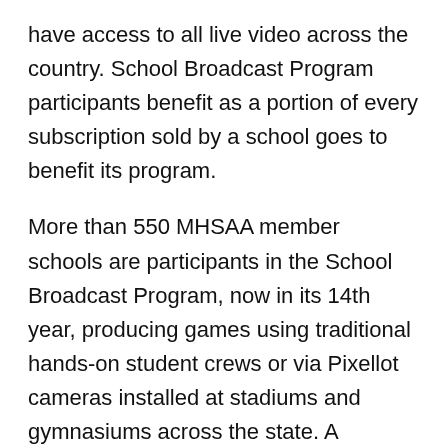have access to all live video across the country. School Broadcast Program participants benefit as a portion of every subscription sold by a school goes to benefit its program.
More than 550 MHSAA member schools are participants in the School Broadcast Program, now in its 14th year, producing games using traditional hands-on student crews or via Pixellot cameras installed at stadiums and gymnasiums across the state. A complete list of participating schools can be found on the School Broadcast Program page of the MHSAA Website.